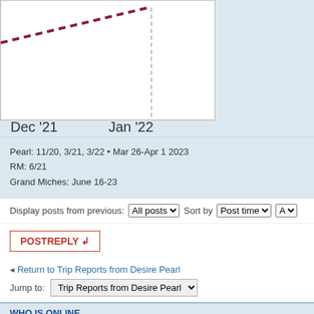[Figure (line-chart): Partial line chart showing dashed dark red trend line with x-axis labels Dec '21 and Jan '22]
Pearl: 11/20, 3/21, 3/22 • Mar 26-Apr 1 2023
RM: 6/21
Grand Miches: June 16-23
Display posts from previous: All posts ▾  Sort by  Post time ▾
POSTREPLY ↲
Return to Trip Reports from Desire Pearl
Jump to: Trip Reports from Desire Pearl
WHO IS ONLINE
Users browsing this forum: No registered users and 2 guests
Board index
The team • Delete all
Powered by phpBB® Forum Software © phpBB Gr